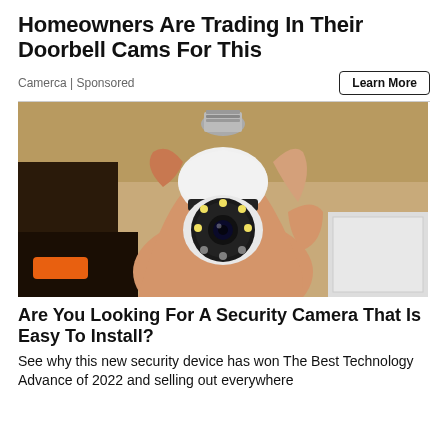Homeowners Are Trading In Their Doorbell Cams For This
Camerca | Sponsored
Learn More
[Figure (photo): A hand holding a white light-bulb shaped security camera with a circular lens and LED lights surrounding it, on a dark background with some boxes visible.]
Are You Looking For A Security Camera That Is Easy To Install?
See why this new security device has won The Best Technology Advance of 2022 and selling out everywhere